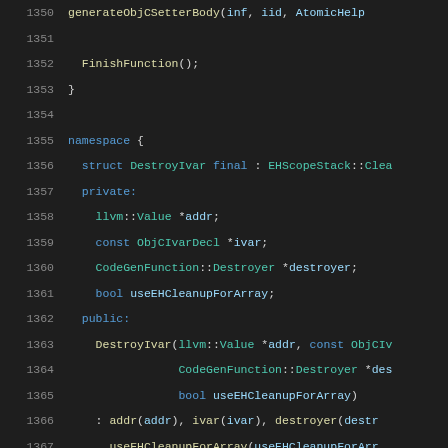[Figure (screenshot): Source code snippet showing C++ code with line numbers 1350-1371, dark theme editor. Code includes a namespace block with a DestroyIvar struct definition, member variables, and a constructor.]